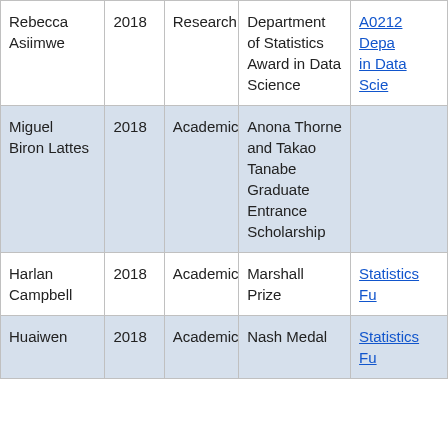| Name | Year | Type | Award | Fund |
| --- | --- | --- | --- | --- |
| Rebecca Asiimwe | 2018 | Research | Department of Statistics Award in Data Science | A0212 Depa... in Data Scie... |
| Miguel Biron Lattes | 2018 | Academic | Anona Thorne and Takao Tanabe Graduate Entrance Scholarship |  |
| Harlan Campbell | 2018 | Academic | Marshall Prize | Statistics Fu... |
| Huaiwen | 2018 | Academic | Nash Medal | Statistics Fu... |